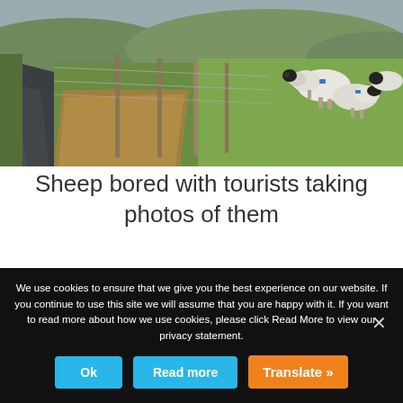[Figure (photo): Rural Scottish/Irish countryside scene: narrow wet asphalt road on the left, wire fence with wooden posts in the middle, green grass fields with sheep (white with black faces) on the right side, brown dead grass/reeds below the fence, overcast sky visible in the background.]
Sheep bored with tourists taking photos of them
We use cookies to ensure that we give you the best experience on our website. If you continue to use this site we will assume that you are happy with it. If you want to read more about how we use cookies, please click Read More to view our privacy statement.